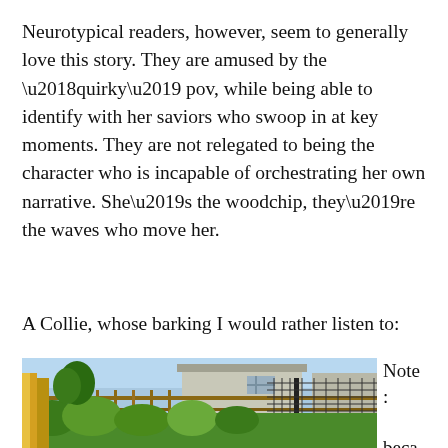Neurotypical readers, however, seem to generally love this story. They are amused by the ‘quirky’ pov, while being able to identify with her saviors who swoop in at key moments. They are not relegated to being the character who is incapable of orchestrating her own narrative. She’s the woodchip, they’re the waves who move her.
A Collie, whose barking I would rather listen to:
[Figure (photo): Outdoor photo showing a backyard with green plants, a wooden fence, a wire fence, and a house in the background under a blue sky.]
Note : beca use